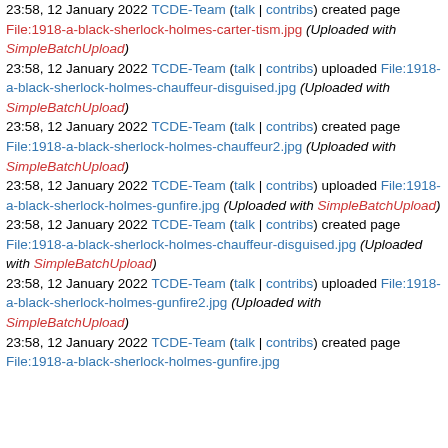23:58, 12 January 2022 TCDE-Team (talk | contribs) created page File:1918-a-black-sherlock-holmes-carter-tism.jpg (Uploaded with SimpleBatchUpload)
23:58, 12 January 2022 TCDE-Team (talk | contribs) uploaded File:1918-a-black-sherlock-holmes-chauffeur-disguised.jpg (Uploaded with SimpleBatchUpload)
23:58, 12 January 2022 TCDE-Team (talk | contribs) created page File:1918-a-black-sherlock-holmes-chauffeur2.jpg (Uploaded with SimpleBatchUpload)
23:58, 12 January 2022 TCDE-Team (talk | contribs) uploaded File:1918-a-black-sherlock-holmes-gunfire.jpg (Uploaded with SimpleBatchUpload)
23:58, 12 January 2022 TCDE-Team (talk | contribs) created page File:1918-a-black-sherlock-holmes-chauffeur-disguised.jpg (Uploaded with SimpleBatchUpload)
23:58, 12 January 2022 TCDE-Team (talk | contribs) uploaded File:1918-a-black-sherlock-holmes-gunfire2.jpg (Uploaded with SimpleBatchUpload)
23:58, 12 January 2022 TCDE-Team (talk | contribs) created page File:1918-a-black-sherlock-holmes-gunfire.jpg